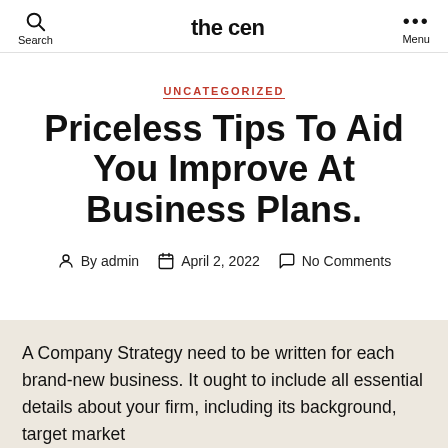the cen | Search | Menu
UNCATEGORIZED
Priceless Tips To Aid You Improve At Business Plans.
By admin  April 2, 2022  No Comments
A Company Strategy need to be written for each brand-new business. It ought to include all essential details about your firm, including its background, target market